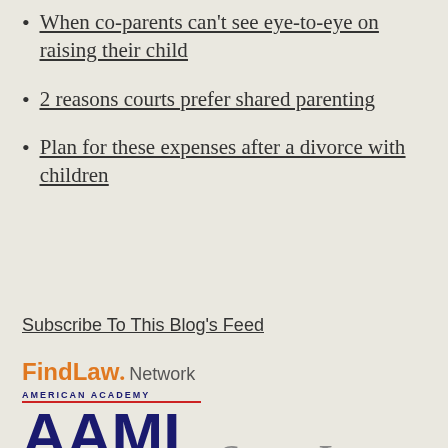When co-parents can't see eye-to-eye on raising their child
2 reasons courts prefer shared parenting
Plan for these expenses after a divorce with children
Subscribe To This Blog's Feed
FindLaw. Network
[Figure (logo): American Academy of Matrimonial Lawyers (AAML) logo in dark navy blue with red underline, and Super Lawyers text in gray italic]